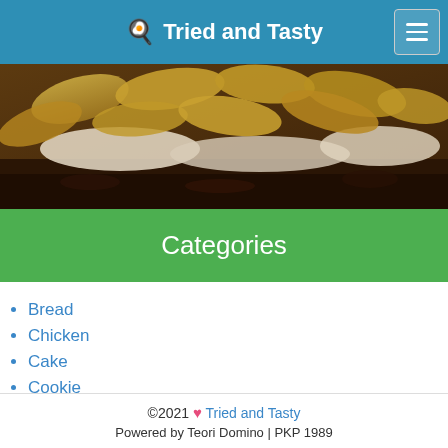🍳 Tried and Tasty
[Figure (photo): Close-up photo of a cooked food dish featuring sliced potatoes on top and what appears to be ground meat and white sauce layers below.]
Categories
Bread
Chicken
Cake
Cookie
©2021 ♥ Tried and Tasty
Powered by Teori Domino | PKP 1989